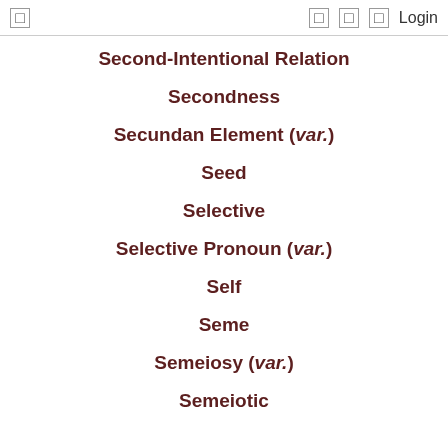Login
Second-Intentional Relation
Secondness
Secundan Element (var.)
Seed
Selective
Selective Pronoun (var.)
Self
Seme
Semeiosy (var.)
Semeiotic